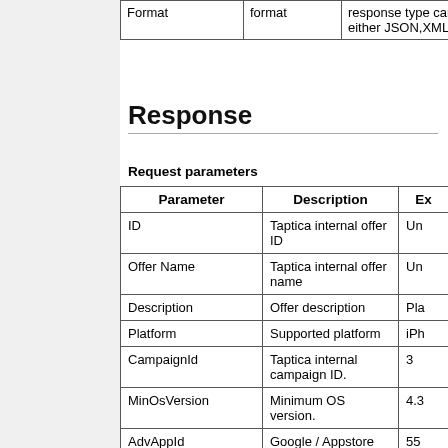| Parameter | format | Description | Example |
| --- | --- | --- | --- |
| Format | format | response type can be either JSON,XML,CSV | XML |
Response
Request parameters
| Parameter | Description | Example |
| --- | --- | --- |
| ID | Taptica internal offer ID | Un… |
| Offer Name | Taptica internal offer name | Un… |
| Description | Offer description | Pla… |
| Platform | Supported platform | iPh… |
| CampaignId | Taptica internal campaign ID. | 3 |
| MinOsVersion | Minimum OS version. | 4.3… |
| AdvAppId | Google / Appstore application id. | 55… |
|  | Link to the |  |